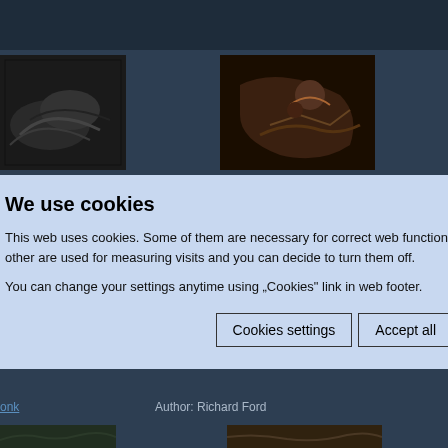[Figure (screenshot): Website screenshot with dark blue background showing wildlife/bird photos in a grid layout, with a cookie consent overlay dialog]
We use cookies
This web uses cookies. Some of them are necessary for correct web function, other are used for measuring visits and you can decide to turn them off.
You can change your settings anytime using „Cookies" link in web footer.
Cookies settings   Accept all
onk
Author: Richard Ford